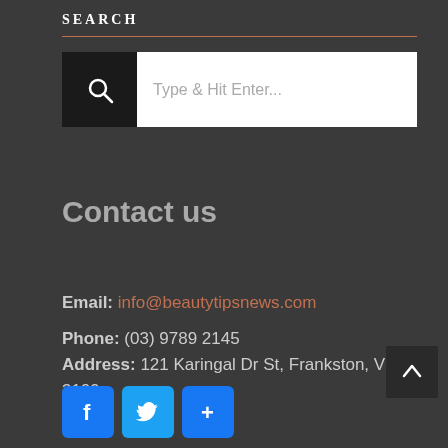SEARCH
[Figure (screenshot): Search box with magnifying glass icon on dark background and white input field with placeholder text 'Type & Hit Enter...']
Contact us
Email: info@beautytipsnews.com
Phone: (03) 9789 2145
Address: 121 Karingal Dr St, Frankston, VIC 3199